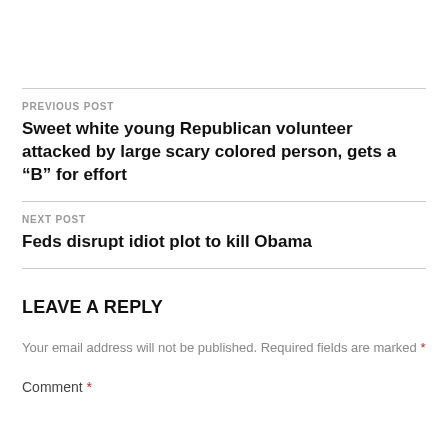PREVIOUS POST
Sweet white young Republican volunteer attacked by large scary colored person, gets a “B” for effort
NEXT POST
Feds disrupt idiot plot to kill Obama
LEAVE A REPLY
Your email address will not be published. Required fields are marked *
Comment *